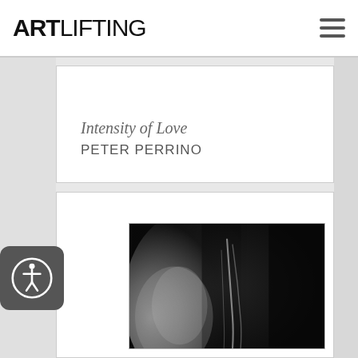ARTLIFTING
Intensity of Love
PETER PERRINO
[Figure (photo): Black and white abstract photograph showing flowing dark fabric or organic forms with light gradients, creating a dramatic contrast composition]